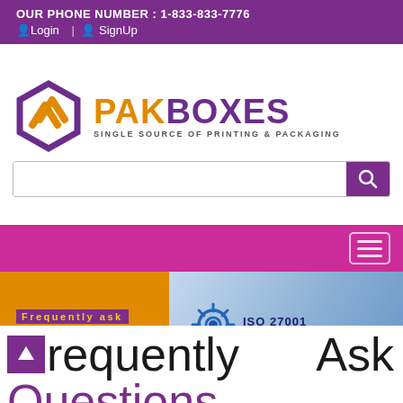OUR PHONE NUMBER : 1-833-833-7776 | Login | SignUp
[Figure (logo): PAK BOXES logo with hexagon icon and tagline SINGLE SOURCE OF PRINTING & PACKAGING]
Frequently Ask Questions